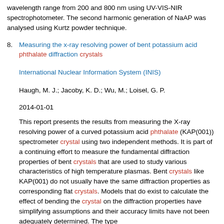wavelength range from 200 and 800 nm using UV-VIS-NIR spectrophotometer. The second harmonic generation of NaAP was analysed using Kurtz powder technique.
8. Measuring the x-ray resolving power of bent potassium acid phthalate diffraction crystals
International Nuclear Information System (INIS)
Haugh, M. J.; Jacoby, K. D.; Wu, M.; Loisel, G. P.
2014-01-01
This report presents the results from measuring the X-ray resolving power of a curved potassium acid phthalate (KAP(001)) spectrometer crystal using two independent methods. It is part of a continuing effort to measure the fundamental diffraction properties of bent crystals that are used to study various characteristics of high temperature plasmas. Bent crystals like KAP(001) do not usually have the same diffraction properties as corresponding flat crystals. Models that do exist to calculate the effect of bending the crystal on the diffraction properties have simplifying assumptions and their accuracy limits have not been adequately determined. The type